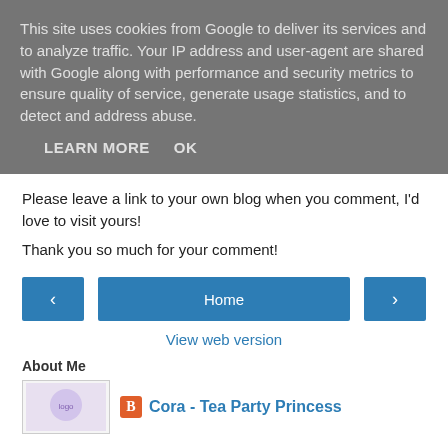This site uses cookies from Google to deliver its services and to analyze traffic. Your IP address and user-agent are shared with Google along with performance and security metrics to ensure quality of service, generate usage statistics, and to detect and address abuse.
LEARN MORE   OK
Please leave a link to your own blog when you comment, I'd love to visit yours!
Thank you so much for your comment!
< Home >
View web version
About Me
Cora - Tea Party Princess